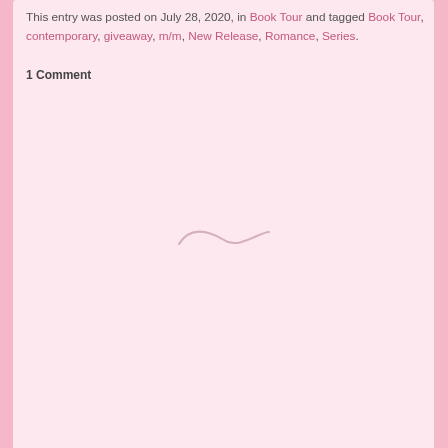This entry was posted on July 28, 2020, in Book Tour and tagged Book Tour, contemporary, giveaway, m/m, New Release, Romance, Series.
1 Comment
[Figure (illustration): Decorative swirl/tilde divider in pale pink/beige]
[Figure (photo): Dark red roses background strip image]
[Figure (screenshot): Search bar widget with magnifying glass icon on pink background]
SEARCH
[Figure (screenshot): Search input field with magnifying glass icon]
RECENT POSTS